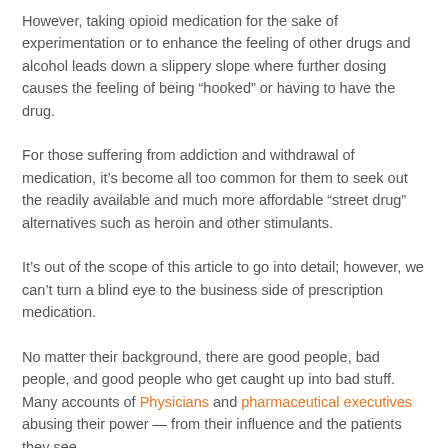However, taking opioid medication for the sake of experimentation or to enhance the feeling of other drugs and alcohol leads down a slippery slope where further dosing causes the feeling of being “hooked” or having to have the drug.
For those suffering from addiction and withdrawal of medication, it’s become all too common for them to seek out the readily available and much more affordable “street drug” alternatives such as heroin and other stimulants.
It’s out of the scope of this article to go into detail; however, we can’t turn a blind eye to the business side of prescription medication.
No matter their background, there are good people, bad people, and good people who get caught up into bad stuff. Many accounts of Physicians and pharmaceutical executives abusing their power — from their influence and the patients they see —